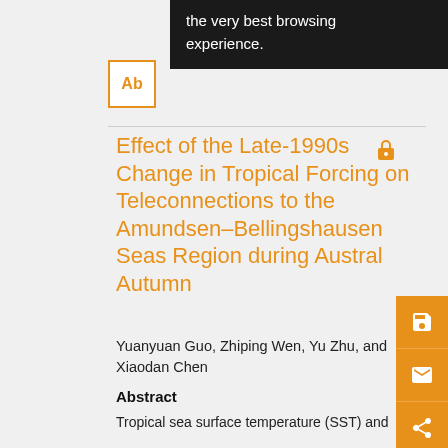the very best browsing experience.
Effect of the Late-1990s Change in Tropical Forcing on Teleconnections to the Amundsen–Bellingshausen Seas Region during Austral Autumn
Yuanyuan Guo, Zhiping Wen, Yu Zhu, and Xiaodan Chen
Abstract
Tropical sea surface temperature (SST) and